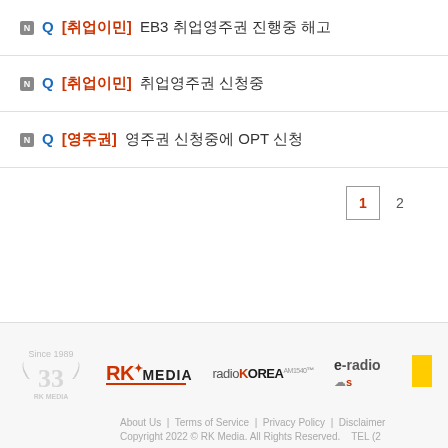N Q [취업이민] EB3 취업영주권 진행중 해고
N Q [취업이민] 취업영주권 신청중
N Q [영주권] 영주권 신청중에 OPT 신청
1  2
[Figure (logo): RK Media 33rd anniversary logo]
[Figure (logo): RK MEDIA logo]
[Figure (logo): radioKOREA logo]
[Figure (logo): e-radio logo]
About Us | Terms of Service | Privacy Policy | Disclaimer
Copyright 2022 © RK Media. All Rights Reserved.   TEL (2